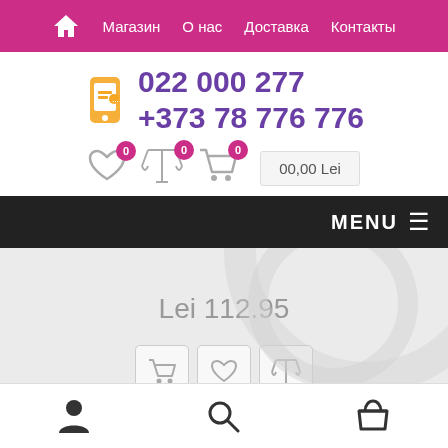Магазин  О нас  Доставка  Контакты
022 000 277
+373 78 776 776
0  0  0  00,00 Lei
MENU
Lei 112.95
[Figure (screenshot): Three action icon buttons: shopping cart, heart/wishlist, balance/compare]
[Figure (screenshot): Messenger chat bubble icon (pink circle)]
User account icon, Search icon, Shopping basket icon